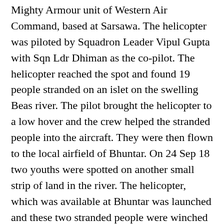Mighty Armour unit of Western Air Command, based at Sarsawa. The helicopter was piloted by Squadron Leader Vipul Gupta with Sqn Ldr Dhiman as the co-pilot. The helicopter reached the spot and found 19 people stranded on an islet on the swelling Beas river. The pilot brought the helicopter to a low hover and the crew helped the stranded people into the aircraft. They were then flown to the local airfield of Bhuntar. On 24 Sep 18 two youths were spotted on another small strip of land in the river. The helicopter, which was available at Bhuntar was launched and these two stranded people were winched up since there was no place for the heptr to land. The helicopter and its crew have been instructed to await at Bhuntar airstrip should any other rescue be